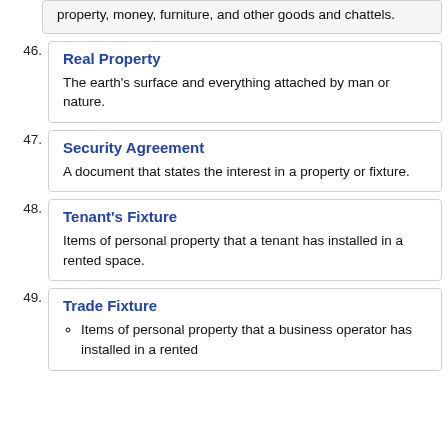property, money, furniture, and other goods and chattels.
46. Real Property
The earth's surface and everything attached by man or nature.
47. Security Agreement
A document that states the interest in a property or fixture.
48. Tenant's Fixture
Items of personal property that a tenant has installed in a rented space.
49. Trade Fixture
Items of personal property that a business operator has installed in a rented